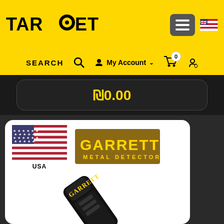[Figure (screenshot): TARGET store website header with yellow background, logo, hamburger menu button, language flag icon, search bar with My Account and cart icon showing 0 items, price display of ₪0.00, and Garrett Metal Detectors product card showing USA flag, Garrett logo, and handheld metal detector wand image, with right sidebar navigation icons]
TAR🎯ET
SEARCH
My Account
₪0.00
USA
GARRETT METAL DETECTORS